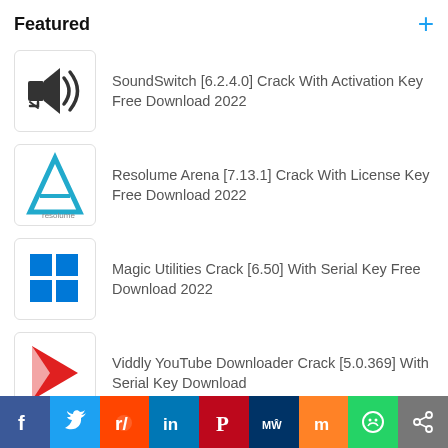Featured
SoundSwitch [6.2.4.0] Crack With Activation Key Free Download 2022
Resolume Arena [7.13.1] Crack With License Key Free Download 2022
Magic Utilities Crack [6.50] With Serial Key Free Download 2022
Viddly YouTube Downloader Crack [5.0.369] With Serial Key Download
AIO Boot [0.9.9.19] Crack With License Key Free Download 2022
Air Explorer Pro [4.7.0] Crack With Activation Code Full Download 2022
Auslogics BoostSpeed [12.3.0.2] Crack With